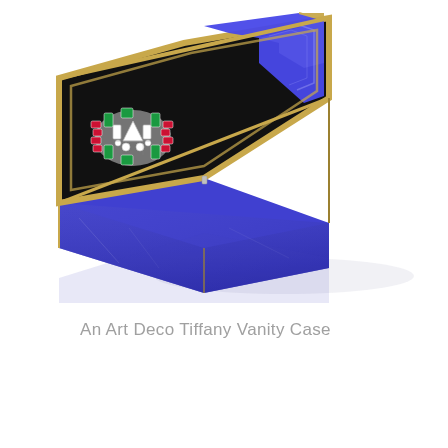[Figure (photo): An Art Deco Tiffany Vanity Case photographed at an angle showing a rectangular box with blue lapis lazuli sides and bottom, gold trim border, a black onyx top surface with geometric Art Deco pattern in blue enamel, and an ornate jeweled clasp with diamonds, emeralds, and rubies.]
An Art Deco Tiffany Vanity Case